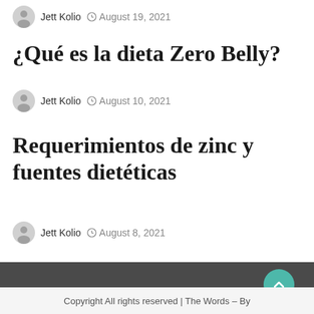Jett Kolio  August 19, 2021
¿Qué es la dieta Zero Belly?
Jett Kolio  August 10, 2021
Requerimientos de zinc y fuentes dietéticas
Jett Kolio  August 8, 2021
Copyright All rights reserved | The Words – By